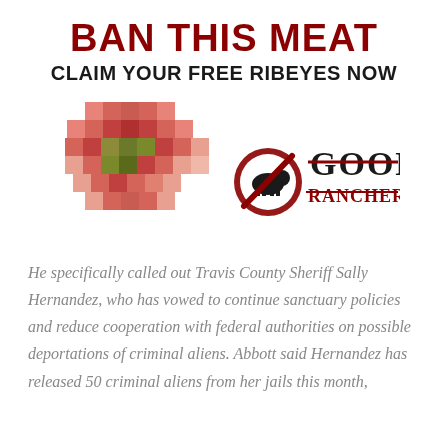BAN THIS MEAT
CLAIM YOUR FREE RIBEYES NOW
[Figure (illustration): Pixelated image of a raw ribeye steak on the left, and the Good Ranchers logo (with a red circle-slash over a cow icon and strikethrough text 'GOOD RANCHERS') on the right.]
He specifically called out Travis County Sheriff Sally Hernandez, who has vowed to continue sanctuary policies and reduce cooperation with federal authorities on possible deportations of criminal aliens. Abbott said Hernandez has released 50 criminal aliens from her jails this month,